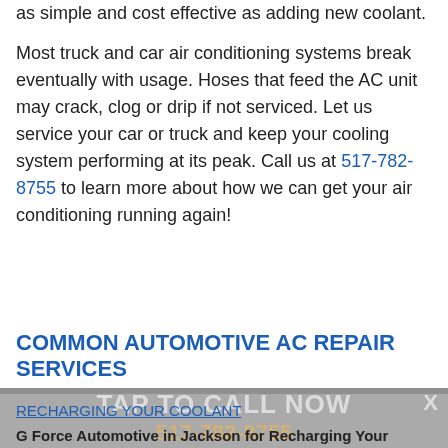as simple and cost effective as adding new coolant.
Most truck and car air conditioning systems break eventually with usage. Hoses that feed the AC unit may crack, clog or drip if not serviced. Let us service your car or truck and keep your cooling system performing at its peak. Call us at 517-782-8755 to learn more about how we can get your air conditioning running again!
COMMON AUTOMOTIVE AC REPAIR SERVICES
RECHARGING YOUR COOLANT
G Force Automotive in Jackson for Recharging Your Freon Fast
[Figure (other): TAP TO CALL NOW overlay banner with phone number 517-782-8755 and close X button]